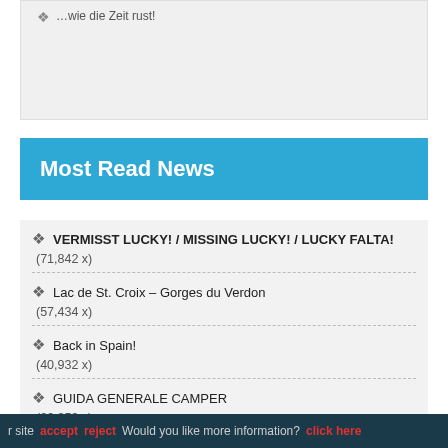…wie die Zeit rust!
Most Read News
VERMISST LUCKY! / MISSING LUCKY! / LUCKY FALTA!
(71,842 x)
Lac de St. Croix – Gorges du Verdon
(57,434 x)
Back in Spain!
(40,932 x)
GUIDA GENERALE CAMPER
(26,859 x)
Erfahrungsbericht: Whats App, S...
r site   accept   reject   Would you like more information?   click here